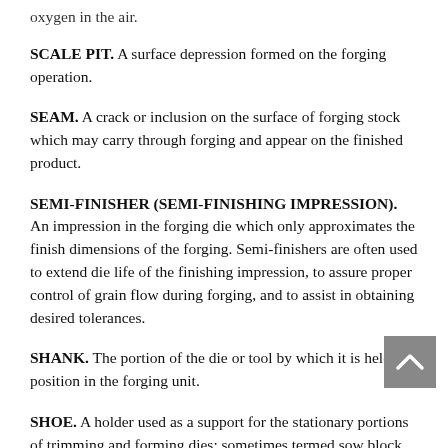oxygen in the air.
SCALE PIT. A surface depression formed on the forging operation.
SEAM. A crack or inclusion on the surface of forging stock which may carry through forging and appear on the finished product.
SEMI-FINISHER (SEMI-FINISHING IMPRESSION). An impression in the forging die which only approximates the finish dimensions of the forging. Semi-finishers are often used to extend die life of the finishing impression, to assure proper control of grain flow during forging, and to assist in obtaining desired tolerances.
SHANK. The portion of the die or tool by which it is held in position in the forging unit.
SHOE. A holder used as a support for the stationary portions of trimming and forming dies; sometimes termed sow block.
SHRINKAGE. The contraction of metal during cooling after forming. Die impressions are made oversize according to